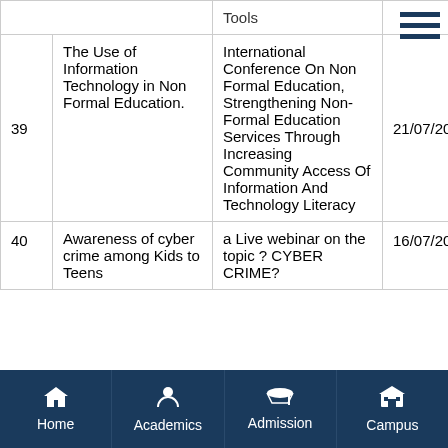| # | Title | Event/Conference | Date | University |
| --- | --- | --- | --- | --- |
| 39 | The Use of Information Technology in Non Formal Education. | International Conference On Non Formal Education, Strengthening Non-Formal Education Services Through Increasing Community Access Of Information And Technology Literacy | 21/07/2020 | Unive Nege Indon |
| 40 | Awareness of cyber crime among Kids to Teens | a Live webinar on the topic ? CYBER CRIME? | 16/07/2020 | Mang Unive |
Home | Academics | Admission | Campus